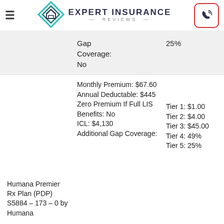Expert Insurance Reviews
| Plan Name | Details | Cost Sharing |
| --- | --- | --- |
|  | Gap Coverage: No | 25% |
| Humana Premier Rx Plan (PDP) S5884 – 173 – 0 by Humana | Monthly Premium: $67.60 Annual Deductable: $445 Zero Premium If Full LIS Benefits: No ICL: $4,130 Additional Gap Coverage: | Tier 1: $1.00 Tier 2: $4.00 Tier 3: $45.00 Tier 4: 49% Tier 5: 25% |